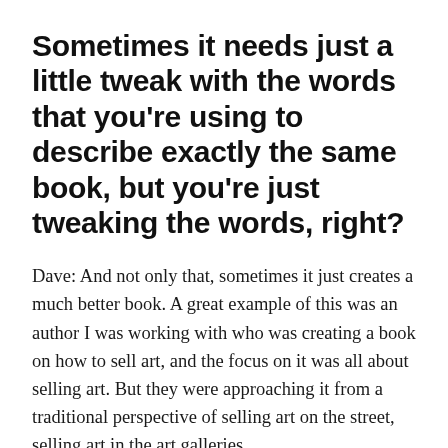Sometimes it needs just a little tweak with the words that you're using to describe exactly the same book, but you're just tweaking the words, right?
Dave: And not only that, sometimes it just creates a much better book. A great example of this was an author I was working with who was creating a book on how to sell art, and the focus on it was all about selling art. But they were approaching it from a traditional perspective of selling art on the street, selling art in the art galleries.
However, then when we did our research, we